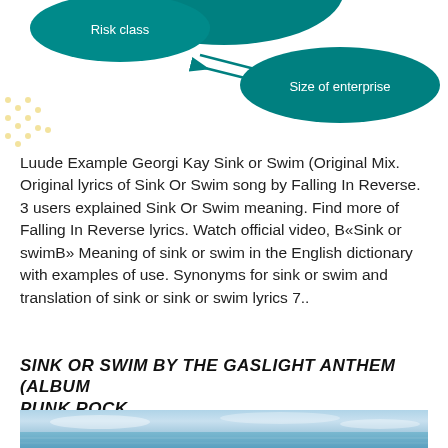[Figure (infographic): Partial diagram showing teal oval shapes labeled 'Risk class' and 'Size of enterprise' with arrows between them, on a white/dotted background. Top portion of a flowchart or concept diagram.]
Luude Example Georgi Kay Sink or Swim (Original Mix. Original lyrics of Sink Or Swim song by Falling In Reverse. 3 users explained Sink Or Swim meaning. Find more of Falling In Reverse lyrics. Watch official video, B«Sink or swimB» Meaning of sink or swim in the English dictionary with examples of use. Synonyms for sink or swim and translation of sink or sink or swim lyrics 7..
SINK OR SWIM BY THE GASLIGHT ANTHEM (ALBUM PUNK ROCK
[Figure (photo): Partial photo of a seascape or ocean scene with light blue water and cloudy sky, bottom portion cut off.]